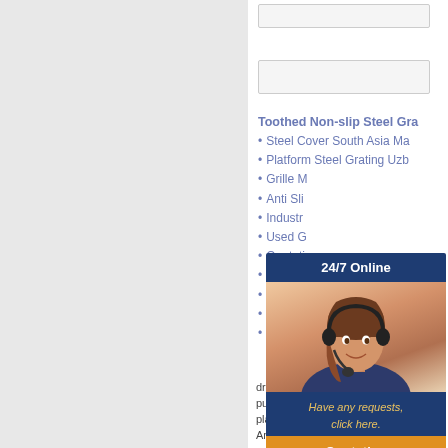[Figure (screenshot): Left grey panel sidebar of a webpage]
[Figure (screenshot): Two input form fields at top of right panel]
Toothed Non-slip Steel Gra...
Steel Cover South Asia Ma...
Platform Steel Grating Uzb...
Grille M...
Anti Sli...
Industr...
Used G...
Quotati...
Inquiry...
Metal G...
Bar Gri...
Steel G...
[Figure (photo): 24/7 Online customer service widget with woman wearing headset, navy blue background, quotation button]
drive tra... public safety, and durability... players, price is presented... America * Asia & Pacific *...